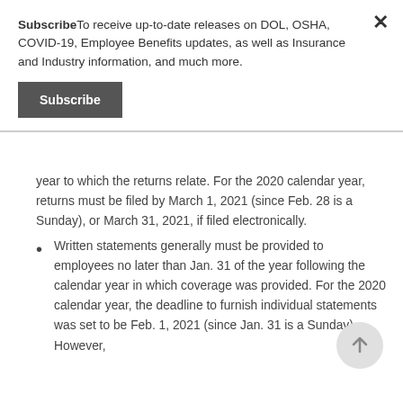SubscribeTo receive up-to-date releases on DOL, OSHA, COVID-19, Employee Benefits updates, as well as Insurance and Industry information, and much more.
[Figure (other): Dark gray Subscribe button]
year to which the returns relate. For the 2020 calendar year, returns must be filed by March 1, 2021 (since Feb. 28 is a Sunday), or March 31, 2021, if filed electronically.
Written statements generally must be provided to employees no later than Jan. 31 of the year following the calendar year in which coverage was provided. For the 2020 calendar year, the deadline to furnish individual statements was set to be Feb. 1, 2021 (since Jan. 31 is a Sunday). However,